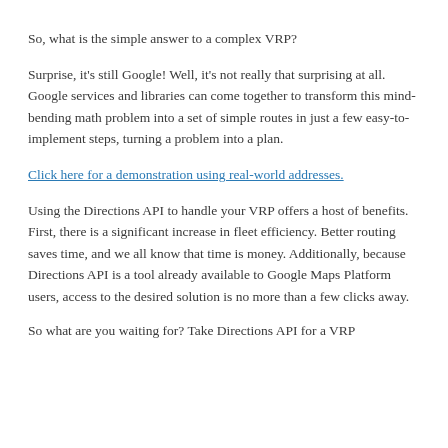So, what is the simple answer to a complex VRP?
Surprise, it's still Google! Well, it's not really that surprising at all. Google services and libraries can come together to transform this mind-bending math problem into a set of simple routes in just a few easy-to-implement steps, turning a problem into a plan.
Click here for a demonstration using real-world addresses.
Using the Directions API to handle your VRP offers a host of benefits. First, there is a significant increase in fleet efficiency. Better routing saves time, and we all know that time is money. Additionally, because Directions API is a tool already available to Google Maps Platform users, access to the desired solution is no more than a few clicks away.
So what are you waiting for? Take Directions API for a VRP